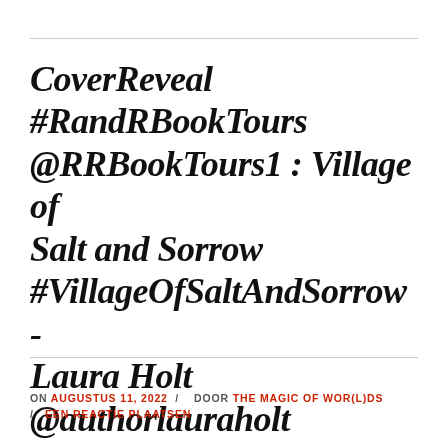CoverReveal #RandRBookTours @RRBookTours1 : Village of Salt and Sorrow #VillageOfSaltAndSorrow - Laura Holt @authorlauraholt #MagicalRealism
ON AUGUSTUS 11, 2022 / DOOR THE MAGIC OF WOR(L)DS / EEN REACTIE PLAATSEN